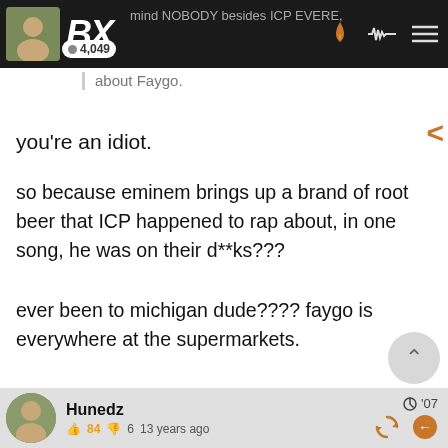BX | 4,049
mind NOBODY besides ICP EVERE, about Faygo.
you're an idiot.
so because eminem brings up a brand of root beer that ICP happened to rap about, in one song, he was on their d**ks???
ever been to michigan dude???? faygo is everywhere at the supermarkets.
acting like faygo is ICP's invention
Hunedz | 84 thumbs up | 6 thumbs down | 13 years ago | '07